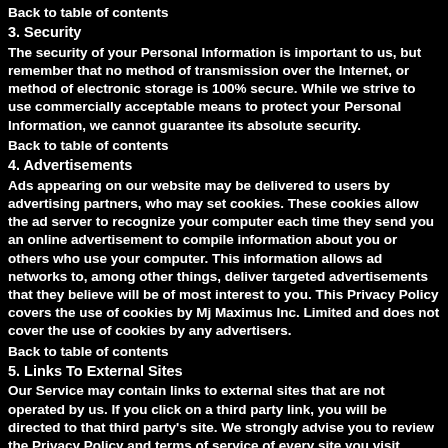Back to table of contents
3. Security
The security of your Personal Information is important to us, but remember that no method of transmission over the Internet, or method of electronic storage is 100% secure. While we strive to use commercially acceptable means to protect your Personal Information, we cannot guarantee its absolute security.
Back to table of contents
4. Advertisements
Ads appearing on our website may be delivered to users by advertising partners, who may set cookies. These cookies allow the ad server to recognize your computer each time they send you an online advertisement to compile information about you or others who use your computer. This information allows ad networks to, among other things, deliver targeted advertisements that they believe will be of most interest to you. This Privacy Policy covers the use of cookies by Mj Maximus Inc. Limited and does not cover the use of cookies by any advertisers.
Back to table of contents
5. Links To External Sites
Our Service may contain links to external sites that are not operated by us. If you click on a third party link, you will be directed to that third party's site. We strongly advise you to review the Privacy Policy and terms of service of every site you visit.
We have no control over, and assume no responsibility for the content, privacy policies or practices of any third party sites, products or services.
Back to table of contents
6. Mj Maximus Inc. Limited uses Google AdWords for remarketing
Mj Maximus Inc. Limited uses the remarketing services to advertise on third party websites (including Google) to previous visitors to our site. It could mean that we advertise to previous visitors who haven't